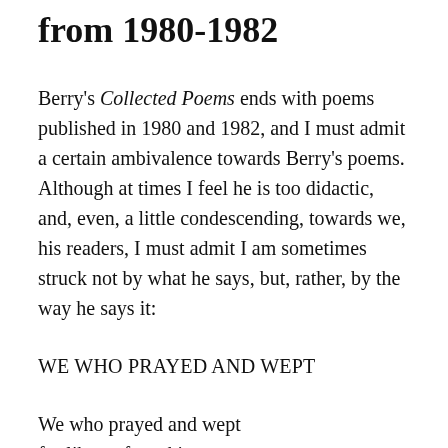from 1980-1982
Berry's Collected Poems ends with poems published in 1980 and 1982, and I must admit a certain ambivalence towards Berry's poems. Although at times I feel he is too didactic, and, even, a little condescending, towards we, his readers, I must admit I am sometimes struck not by what he says, but, rather, by the way he says it:
WE WHO PRAYED AND WEPT
We who prayed and wept
for liberty from kings